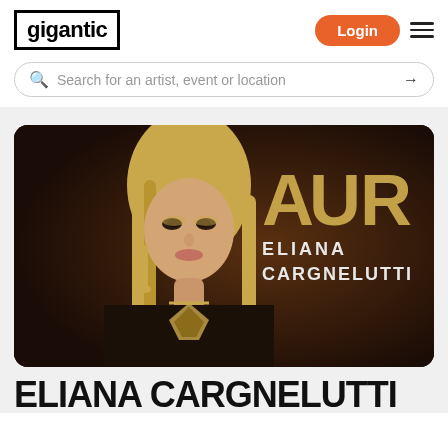gigantic
Login
Search for an artist, event or location
[Figure (photo): Promotional photo of Eliana Cargnelutti with golden AUR logo text overlay on dark background, showing a blonde woman wearing gold jewelry]
ELIANA CARGNELUTTI